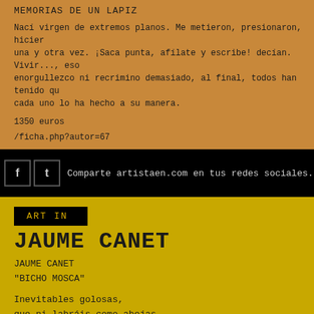MEMORIAS DE UN LAPIZ
Nací virgen de extremos planos. Me metieron, presionaron, hicier... una y otra vez. ¡Saca punta, afílate y escribe! decían. Vivir..., eso... enorgullezco ni recrimino demasiado, al final, todos han tenido qu... cada uno lo ha hecho a su manera.
1350 euros
/ficha.php?autor=67
Comparte artistaen.com en tus redes sociales.
ART IN
JAUME CANET
JAUME CANET
"BICHO MOSCA"
Inevitables golosas,
que ni labráis como abejas,
ni brilláis cual mariposas;
pequeñitas, revoltosas,
vosotras, amigas viejas,
me evocáis todas las cosas.